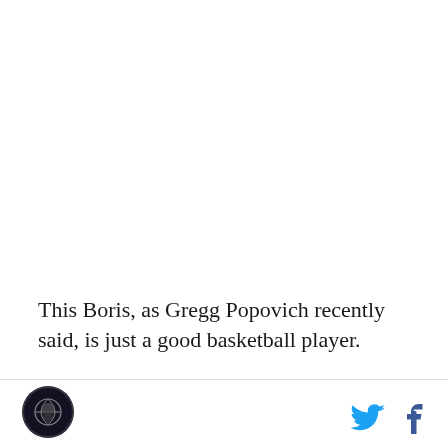This Boris, as Gregg Popovich recently said, is just a good basketball player.
Diaw's amazine shooting may surprise you, but anyone who has followed this league for some time knows that Diaw is one of the best passing big men in the game. His assist numbers are down from his peaks in Phoenix, but it's the new, aggressive Boris who is looking to score more that has caused this. He's still absolutely elite in his passing, it's just that his now
[Figure (logo): Sports media outlet logo — circular dark background with basketball/eagle graphic]
[Figure (logo): Twitter bird icon and Facebook 'f' icon for social sharing]